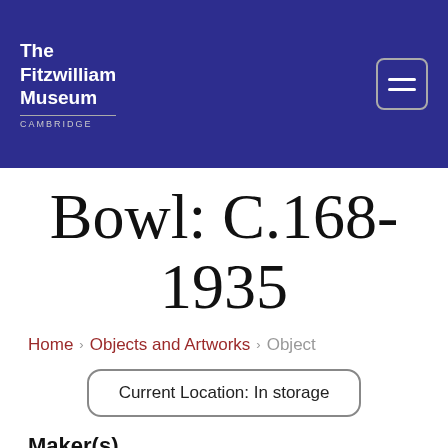The Fitzwilliam Museum CAMBRIDGE
Bowl: C.168-1935
Home › Objects and Artworks › Object
Current Location: In storage
Maker(s)
Unknown (Potter)